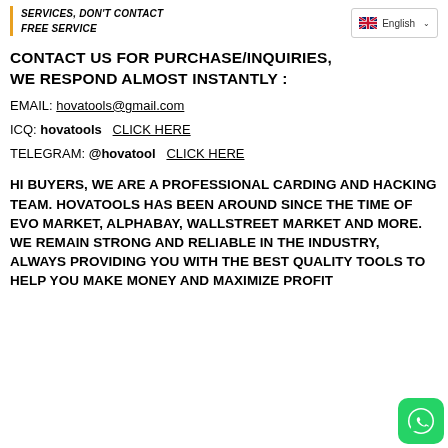SERVICES, DON'T CONTACT FREE SERVICE
[Figure (screenshot): English language selector dropdown with UK flag]
CONTACT US FOR PURCHASE/INQUIRIES, WE RESPOND ALMOST INSTANTLY :
EMAIL: hovatools@gmail.com
ICQ: hovatools  CLICK HERE
TELEGRAM: @hovatool  CLICK HERE
HI BUYERS, WE ARE A PROFESSIONAL CARDING AND HACKING TEAM. HOVATOOLS HAS BEEN AROUND SINCE THE TIME OF EVO MARKET, ALPHABAY, WALLSTREET MARKET AND MORE. WE REMAIN STRONG AND RELIABLE IN THE INDUSTRY, ALWAYS PROVIDING YOU WITH THE BEST QUALITY TOOLS TO HELP YOU MAKE MONEY AND MAXIMIZE PROFIT
[Figure (logo): WhatsApp green button icon in bottom right corner]